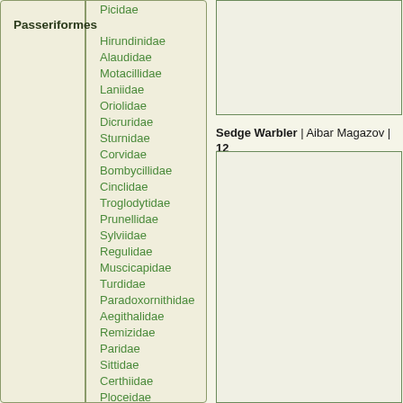Picidae
Passeriformes
Hirundinidae
Alaudidae
Motacillidae
Laniidae
Oriolidae
Dicruridae
Sturnidae
Corvidae
Bombycillidae
Cinclidae
Troglodytidae
Prunellidae
Sylviidae
Regulidae
Muscicapidae
Turdidae
Paradoxornithidae
Aegithalidae
Remizidae
Paridae
Sittidae
Certhiidae
Ploceidae
Fringillidae
Emberizidae
[Figure (photo): Bird photo placeholder top]
Sedge Warbler | Aibar Magazov | 12
[Figure (photo): Bird photo placeholder bottom]